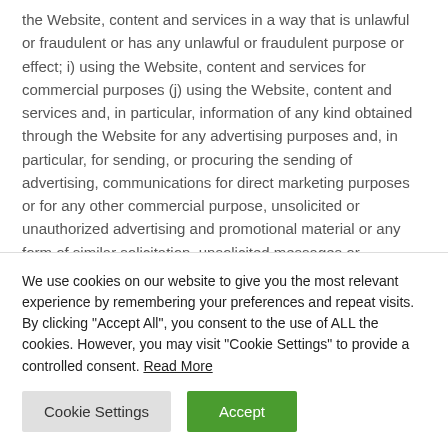the Website, content and services in a way that is unlawful or fraudulent or has any unlawful or fraudulent purpose or effect; i) using the Website, content and services for commercial purposes (j) using the Website, content and services and, in particular, information of any kind obtained through the Website for any advertising purposes and, in particular, for sending, or procuring the sending of advertising, communications for direct marketing purposes or for any other commercial purpose, unsolicited or unauthorized advertising and promotional material or any form of similar solicitation, unsolicited messages or addressed to a number of people, or to sell or otherwise disclose such
We use cookies on our website to give you the most relevant experience by remembering your preferences and repeat visits. By clicking "Accept All", you consent to the use of ALL the cookies. However, you may visit "Cookie Settings" to provide a controlled consent. Read More